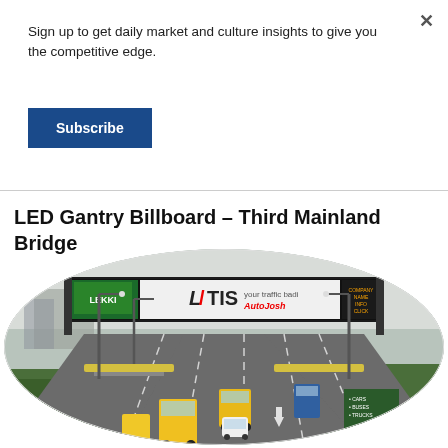Sign up to get daily market and culture insights to give you the competitive edge.
Subscribe
LED Gantry Billboard – Third Mainland Bridge
[Figure (photo): Aerial view of a highway (Third Mainland Bridge, Lagos) with an LED gantry billboard showing 'LATIS your traffic badi AutoJosh' advertisement. Multiple yellow buses and cars are visible on the multi-lane road below the billboard, with green vegetation on the sides.]